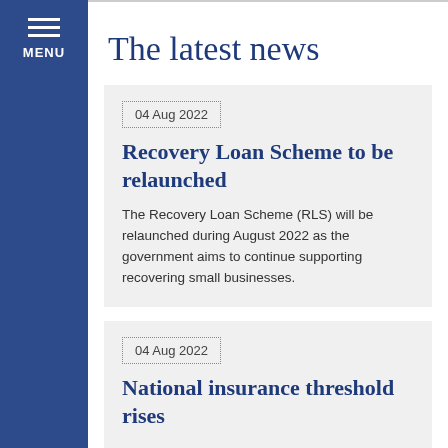MENU
The latest news
04 Aug 2022
Recovery Loan Scheme to be relaunched
The Recovery Loan Scheme (RLS) will be relaunched during August 2022 as the government aims to continue supporting recovering small businesses.
04 Aug 2022
National insurance threshold rises